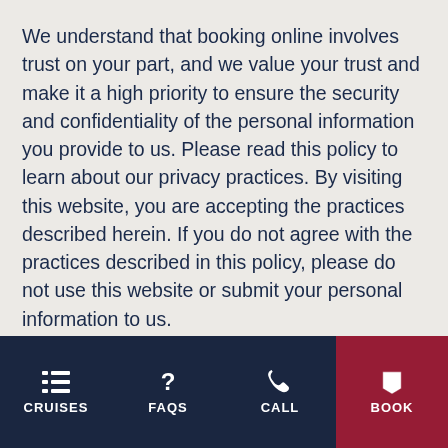We understand that booking online involves trust on your part, and we value your trust and make it a high priority to ensure the security and confidentiality of the personal information you provide to us. Please read this policy to learn about our privacy practices. By visiting this website, you are accepting the practices described herein. If you do not agree with the practices described in this policy, please do not use this website or submit your personal information to us.
WHAT INFO WE COLLECT FROM YOU.
CRUISES | FAQS | CALL | BOOK